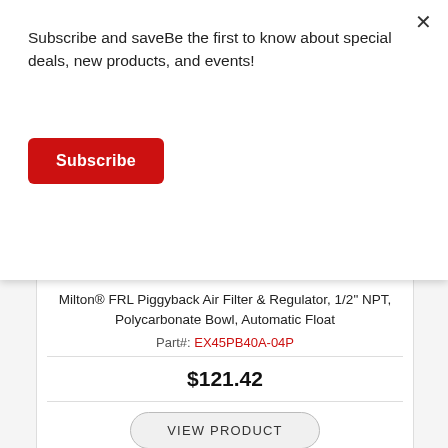Subscribe and saveBe the first to know about special deals, new products, and events!
Subscribe
×
Milton® FRL Piggyback Air Filter & Regulator, 1/2" NPT, Polycarbonate Bowl, Automatic Float
Part#: EX45PB40A-04P
$121.42
VIEW PRODUCT